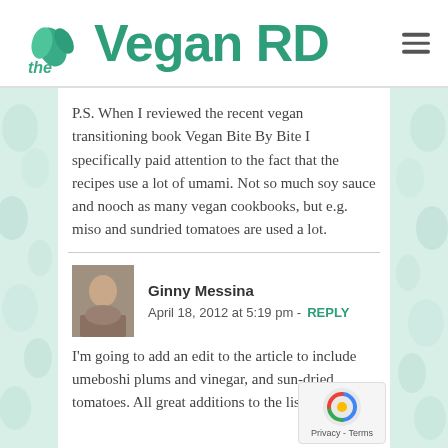the Vegan RD
P.S. When I reviewed the recent vegan transitioning book Vegan Bite By Bite I specifically paid attention to the fact that the recipes use a lot of umami. Not so much soy sauce and nooch as many vegan cookbooks, but e.g. miso and sundried tomatoes are used a lot.
Ginny Messina  April 18, 2012 at 5:19 pm - REPLY
I'm going to add an edit to the article to include umeboshi plums and vinegar, and sun-dried tomatoes. All great additions to the list!